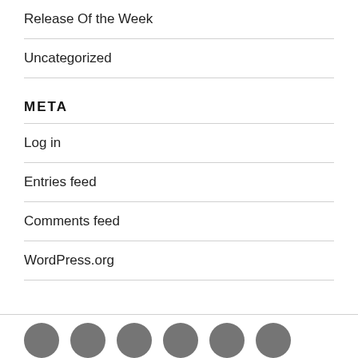Release Of the Week
Uncategorized
META
Log in
Entries feed
Comments feed
WordPress.org
Social media icon links: Facebook, Twitter, Instagram, and others